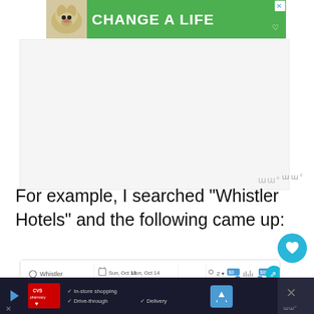[Figure (screenshot): Advertisement banner with green background showing a dog and text 'CHANGE A LIFE' with a close/heart button]
[Figure (screenshot): Gray placeholder advertisement block with watermark 'ww°' in bottom right]
For example, I searched “Whistler Hotels” and the following came up:
[Figure (screenshot): Hotel search interface screenshot showing Whistler location, Sun Oct 13 - Mon Oct 14 dates, 2 guests, price range slider, and filter tabs for Hotels, Vacation rentals, Guest rating, Amenities, Brands, More filters]
[Figure (screenshot): CVS Pharmacy advertisement at bottom showing In-store shopping, Drive-through, and Delivery options with navigation icon and close button]